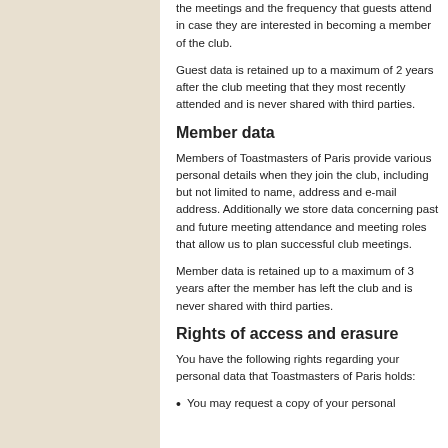the meetings and the frequency that guests attend in case they are interested in becoming a member of the club.
Guest data is retained up to a maximum of 2 years after the club meeting that they most recently attended and is never shared with third parties.
Member data
Members of Toastmasters of Paris provide various personal details when they join the club, including but not limited to name, address and e-mail address. Additionally we store data concerning past and future meeting attendance and meeting roles that allow us to plan successful club meetings.
Member data is retained up to a maximum of 3 years after the member has left the club and is never shared with third parties.
Rights of access and erasure
You have the following rights regarding your personal data that Toastmasters of Paris holds:
You may request a copy of your personal